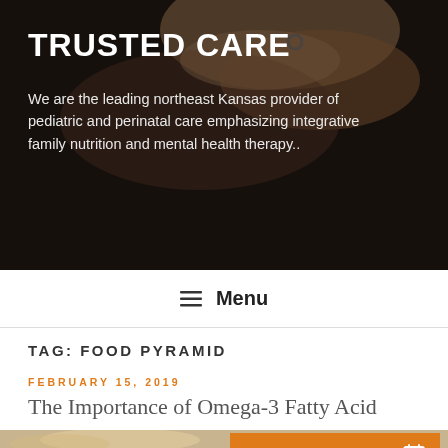[Figure (photo): Dark background photo of hands touching, used as hero banner image for a pediatric and perinatal care website called Trusted Care.]
TRUSTED CARE
We are the leading northeast Kansas provider of pediatric and perinatal care emphasizing integrative family nutrition and mental health therapy..
☰  Menu
TAG: FOOD PYRAMID
FEBRUARY 15, 2019
The Importance of Omega-3 Fatty Acid
[Figure (photo): Photo of food items on a wooden surface, partially visible at the bottom of the page. Includes an orange 'Book Appointment' button with a calendar icon overlaid on the image.]